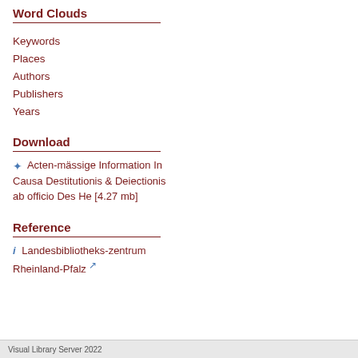Word Clouds
Keywords
Places
Authors
Publishers
Years
Download
Acten-mässige Information In Causa Destitutionis & Deiectionis ab officio Des He [4.27 mb]
Reference
Landesbibliothekszentrum Rheinland-Pfalz
Visual Library Server 2022